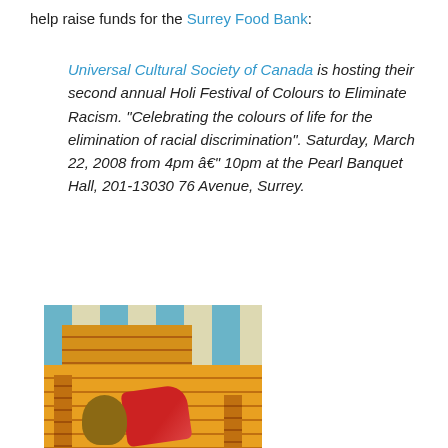help raise funds for the Surrey Food Bank:
Universal Cultural Society of Canada is hosting their second annual Holi Festival of Colours to Eliminate Racism. “Celebrating the colours of life for the elimination of racial discrimination”. Saturday, March 22, 2008 from 4pm – 10pm at the Pearl Banquet Hall, 201-13030 76 Avenue, Surrey.
[Figure (photo): A chair constructed from stacked canned goods with a teddy bear and a red blanket/cloth on it, set against a striped blue and beige background.]